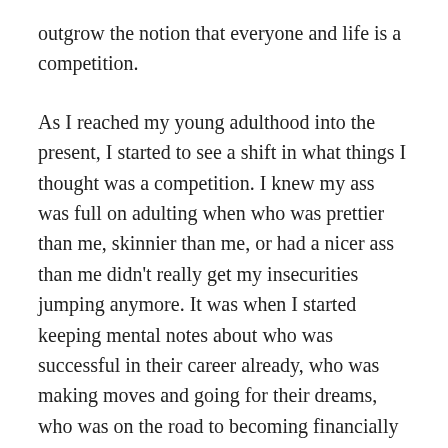outgrow the notion that everyone and life is a competition.
As I reached my young adulthood into the present, I started to see a shift in what things I thought was a competition. I knew my ass was full on adulting when who was prettier than me, skinnier than me, or had a nicer ass than me didn’t really get my insecurities jumping anymore. It was when I started keeping mental notes about who was successful in their career already, who was making moves and going for their dreams, who was on the road to becoming financially stable and well that had me realize I’m entering new competition territory.
Especially since we live in the age of social media, where everything is posted about, celebrated, and in our face it’s hard to ignore. How do we reset